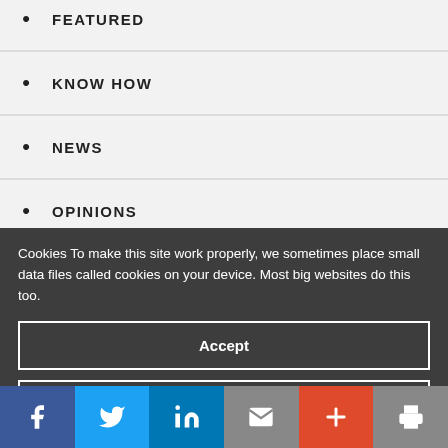FEATURED
KNOW HOW
NEWS
OPINIONS
Cookies To make this site work properly, we sometimes place small data files called cookies on your device. Most big websites do this too.
Accept
Read more